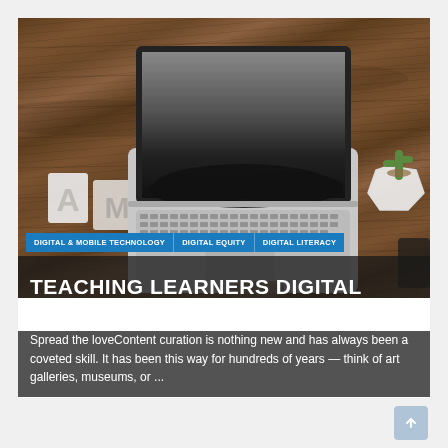[Figure (photo): Overhead view of a laptop on a wooden desk with decorative letter tiles 'A' and 'M' on the left and a small cactus plant on the right. The laptop screen shows a dark background. The photo has category tags overlaid.]
TEACHING LEARNERS DIGITAL CONTENT CREATION SKILLS
Spread the loveContent curation is nothing new and has always been a coveted skill. It has been this way for hundreds of years — think of art galleries, museums, or ...